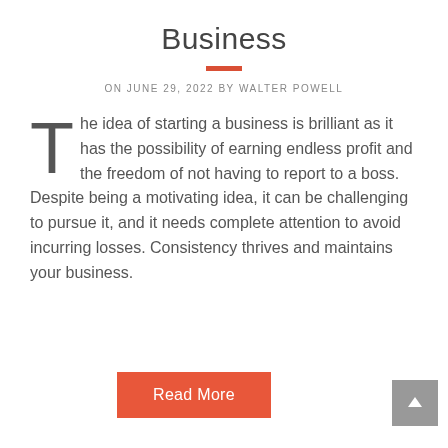Business
ON JUNE 29, 2022 BY WALTER POWELL
The idea of starting a business is brilliant as it has the possibility of earning endless profit and the freedom of not having to report to a boss. Despite being a motivating idea, it can be challenging to pursue it, and it needs complete attention to avoid incurring losses. Consistency thrives and maintains your business.
Read More